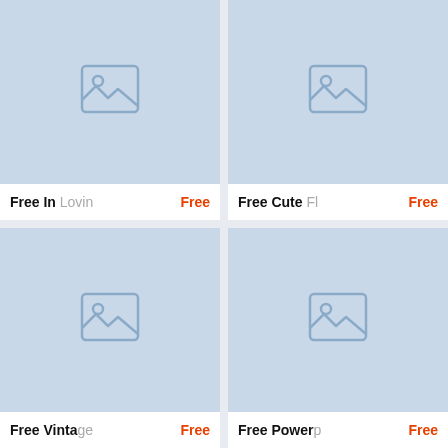[Figure (screenshot): Top-left product card with placeholder image thumbnail and label 'Free In Lovin... Free']
[Figure (screenshot): Top-right product card with placeholder image thumbnail and label 'Free Cute Fl... Free']
[Figure (screenshot): Bottom-left product card with placeholder image thumbnail and label 'Free Vintage... Free']
[Figure (screenshot): Bottom-right product card with placeholder image thumbnail and label 'Free Powerp... Free']